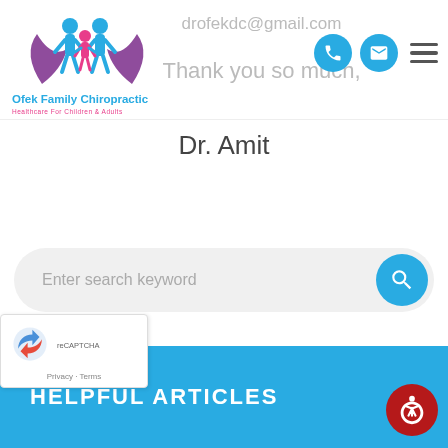[Figure (logo): Ofek Family Chiropractic logo with family silhouette and purple hands, text 'Ofek Family Chiropractic' in blue and 'Healthcare For Children & Adults' in pink]
drofekdc@gmail.com
Thank you so much,
Dr. Amit
Enter search keyword
HELPFUL ARTICLES